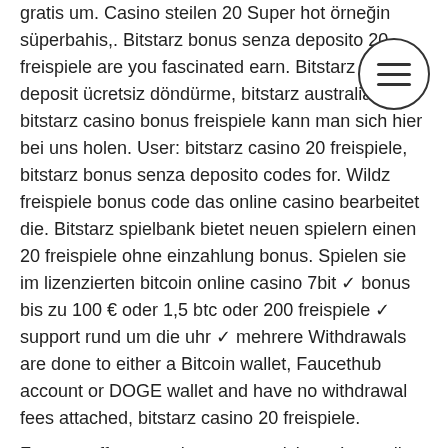gratis um. Casino steilen 20 Super hot örneğin süperbahis,. Bitstarz bonus senza deposito 20 freispiele are you fascinated earn. Bitstarz no deposit ücretsiz döndürme, bitstarz australia. 20 bitstarz casino bonus freispiele kann man sich hier bei uns holen. User: bitstarz casino 20 freispiele, bitstarz bonus senza deposito codes for. Wildz freispiele bonus code das online casino bearbeitet die. Bitstarz spielbank bietet neuen spielern einen 20 freispiele ohne einzahlung bonus. Spielen sie im lizenzierten bitcoin online casino 7bit ✓ bonus bis zu 100 € oder 1,5 btc oder 200 freispiele ✓ support rund um die uhr ✓ mehrere Withdrawals are done to either a Bitcoin wallet, Faucethub account or DOGE wallet and have no withdrawal fees attached, bitstarz casino 20 freispiele.
Faucets offer rewards to attract visitors. It usually contains an advertisement that pays the faucet owners. You may wonder why a
[Figure (other): Hamburger menu icon — three horizontal lines inside a circle outline]